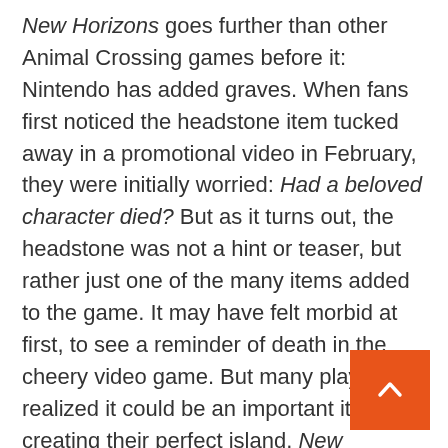New Horizons goes further than other Animal Crossing games before it: Nintendo has added graves. When fans first noticed the headstone item tucked away in a promotional video in February, they were initially worried: Had a beloved character died? But as it turns out, the headstone was not a hint or teaser, but rather just one of the many items added to the game. It may have felt morbid at first, to see a reminder of death in the cheery video game. But many players realized it could be an important item in creating their perfect island. New Horizons actually has multiple headstones available: the Western-style stone and Zen-style stone. Players have used the Stone Tablet, too, in memorials.